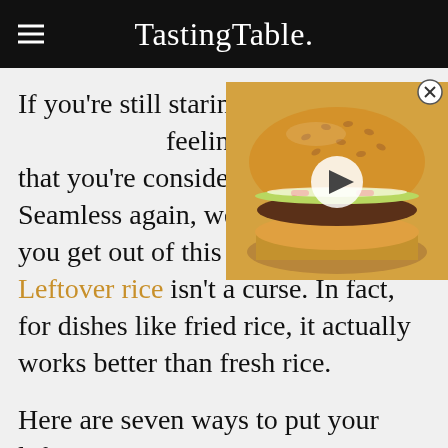Tasting Table.
[Figure (photo): A cheeseburger with sesame seed bun, beef patty, cheese, pickles and condiments on a wooden surface, with a video play button overlay.]
If you're still staring at the fridge feeling so uninspired that you're considering ordering Seamless again, we're here to help you get out of this viscous cycle. Leftover rice isn't a curse. In fact, for dishes like fried rice, it actually works better than fresh rice.
Here are seven ways to put your leftover rice to great use.